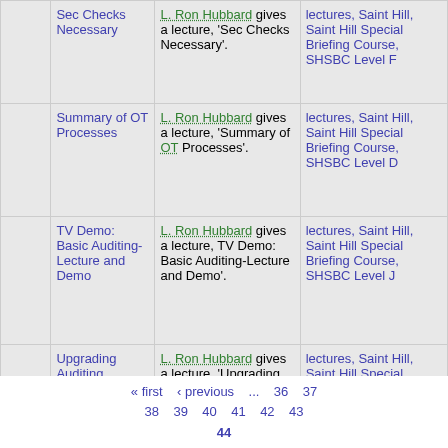|  | Title | Description | Appears in |
| --- | --- | --- | --- |
|  | Sec Checks Necessary | L. Ron Hubbard gives a lecture, 'Sec Checks Necessary'. | lectures, Saint Hill, Saint Hill Special Briefing Course, SHSBC Level F |
|  | Summary of OT Processes | L. Ron Hubbard gives a lecture, 'Summary of OT Processes'. | lectures, Saint Hill, Saint Hill Special Briefing Course, SHSBC Level D |
|  | TV Demo: Basic Auditing-Lecture and Demo | L. Ron Hubbard gives a lecture, TV Demo: Basic Auditing-Lecture and Demo'. | lectures, Saint Hill, Saint Hill Special Briefing Course, SHSBC Level J |
|  | Upgrading Auditing | L. Ron Hubbard gives a lecture, 'Upgrading Auditing'. | lectures, Saint Hill, Saint Hill Special Briefing Course, SHSBC Level F |
« first  ‹ previous  ...  36  37  38  39  40  41  42  43  44